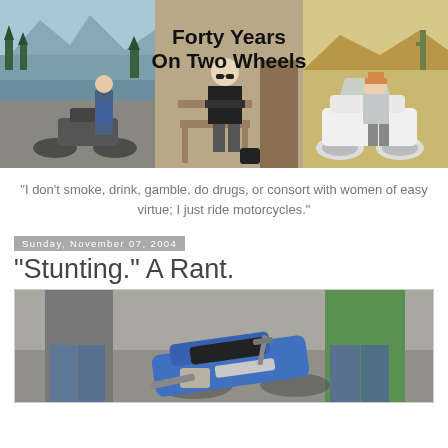[Figure (photo): Blog header banner: three photos of motorcycles and riders side by side with title text 'Forty Years On Two Wheels' overlaid in bold on the center photo]
"I don't smoke, drink, gamble, do drugs, or consort with women of easy virtue; I just ride motorcycles."
Sunday, November 07, 2004
"Stunting." A Rant.
[Figure (photo): Photo of two people standing near a crashed or disabled blue motorcycle lying on the ground in a parking lot]